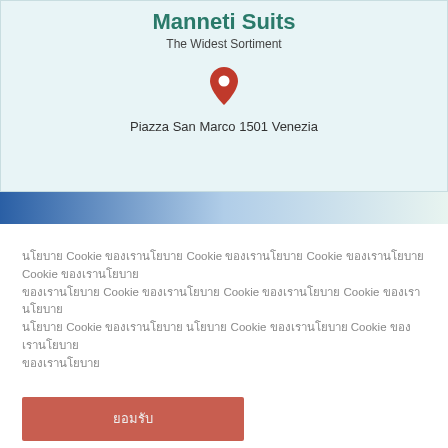Manneti Suits
The Widest Sortiment
[Figure (illustration): Red map pin / location marker icon]
Piazza San Marco 1501 Venezia
[Figure (infographic): Blue to light gradient horizontal bar]
นโยบาย Cookie ของเรานโยบาย Cookie ของเรานโยบาย Cookie ของเรานโยบาย Cookie ของเรานโยบาย Cookie ของเรานโยบาย Cookie ของเรานโยบาย Cookie ของเรา นโยบาย Cookie ของเรา
ยอมรับ